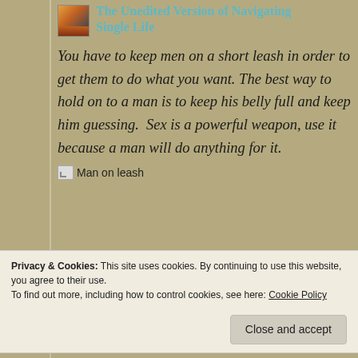The Unedited Version of Navigating Single Life
You have to keep men on a short leash in order to get them to do what you want. The best way to hold on to a man is to keep his belly full and keep him guessing.  Sex is a powerful weapon, use it because a man will do anything for it.
[Figure (photo): Man on leash image placeholder]
Privacy & Cookies: This site uses cookies. By continuing to use this website, you agree to their use. To find out more, including how to control cookies, see here: Cookie Policy
A woman's place is in the kitchen. She belongs in